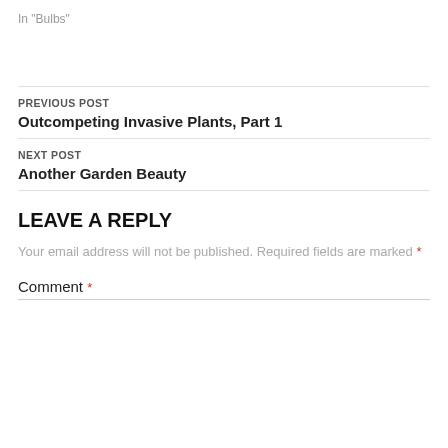In "Bulbs"
PREVIOUS POST
Outcompeting Invasive Plants, Part 1
NEXT POST
Another Garden Beauty
LEAVE A REPLY
Your email address will not be published. Required fields are marked *
Comment *